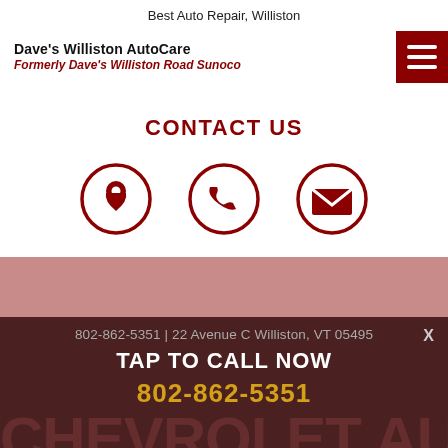Best Auto Repair, Williston
Dave's Williston AutoCare
Formerly Dave's Williston Road Sunoco
CONTACT US
[Figure (infographic): Three circular icons in dark red: location pin, phone handset, and envelope/mail, representing contact methods]
802-862-5351 | 22 Avenue C Williston, VT 05495
TAP TO CALL NOW
802-862-5351
CHEVROLET AUTO
REPAIRS AND